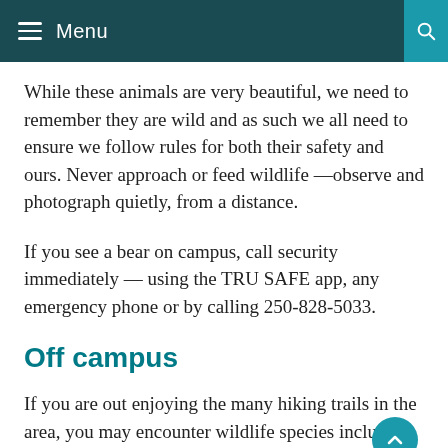Menu
While these animals are very beautiful, we need to remember they are wild and as such we all need to ensure we follow rules for both their safety and ours. Never approach or feed wildlife —observe and photograph quietly, from a distance.
If you see a bear on campus, call security immediately — using the TRU SAFE app, any emergency phone or by calling 250-828-5033.
Off campus
If you are out enjoying the many hiking trails in the area, you may encounter wildlife species including deer, black bear, coyote, fox, cougar, bighorn sheep, moose and more.